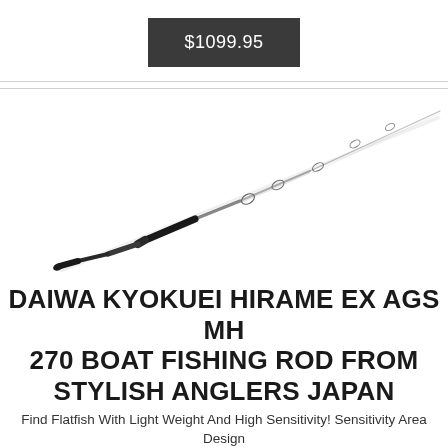$1099.95
[Figure (photo): A fishing rod (DAIWA KYOKUEI HIRAME EX AGS MH 270) photographed diagonally from lower-left to upper-right on a white background. The rod is thin, mostly silver/white with a black grip section in the middle-lower area.]
DAIWA KYOKUEI HIRAME EX AGS MH 270 BOAT FISHING ROD FROM STYLISH ANGLERS JAPAN
Find Flatfish With Light Weight And High Sensitivity! Sensitivity Area Design